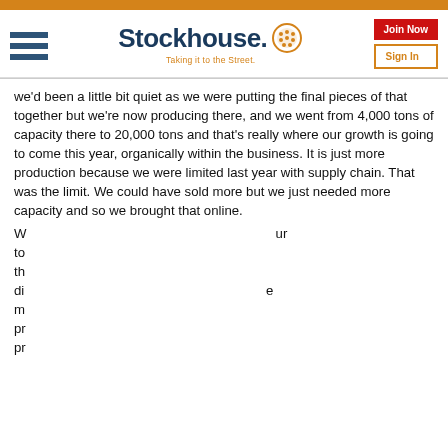[Figure (logo): Stockhouse logo with hamburger menu, 'Taking it to the Street.' tagline, Join Now and Sign In buttons]
we'd been a little bit quiet as we were putting the final pieces of that together but we're now producing there, and we went from 4,000 tons of capacity there to 20,000 tons and that's really where our growth is going to come this year, organically within the business. It is just more production because we were limited last year with supply chain. That was the limit. We could have sold more but we just needed more capacity and so we brought that online.
W... ur to... th... di... e m... pr... pr... ac...
Stockhouse.com uses cookies on this site. By continuing to use our service, you agree to our use of cookies. Cookies are used to offer you a better browsing experience and to analyze our traffic. We also use them to share usage information with our partners. See full details.
I Agree